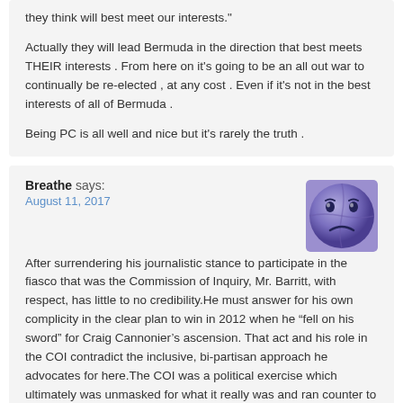they think will best meet our interests."

Actually they will lead Bermuda in the direction that best meets THEIR interests . From here on it's going to be an all out war to continually be re-elected , at any cost . Even if it's not in the best interests of all of Bermuda .

Being PC is all well and nice but it's rarely the truth .
Breathe says:
August 11, 2017

After surrendering his journalistic stance to participate in the fiasco that was the Commission of Inquiry, Mr. Barritt, with respect, has little to no credibility.He must answer for his own complicity in the clear plan to win in 2012 when he “fell on his sword” for Craig Cannonier’s ascension. That act and his role in the COI contradict the inclusive, bi-partisan approach he advocates for here.The COI was a political exercise which ultimately was unmasked for what it really was and ran counter to the intentions of the OBA in setting it in motion. Until Mr. Barritt and others admit their complicity in the brand of politics and political actions that have fueled the divide in this country, nothing they say can be taken at face value.